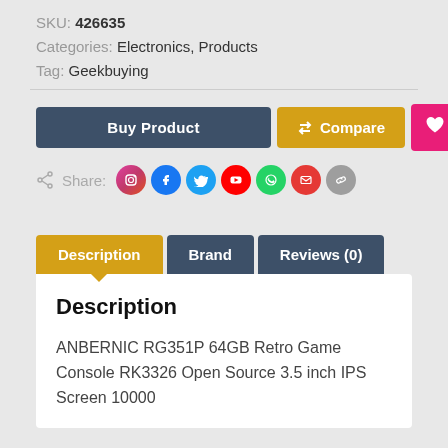SKU: 426635
Categories: Electronics, Products
Tag: Geekbuying
[Figure (screenshot): Three buttons: 'Buy Product' (dark blue-grey), 'Compare' with icon (golden/amber), and a heart icon button (pink/magenta)]
[Figure (screenshot): Share row with share icon, label 'Share:', and 7 colored social media circle icons: Instagram (pink), Facebook (blue), Twitter (light blue), YouTube (red), WhatsApp (green), Email (red-orange), Link (grey)]
Description | Brand | Reviews (0) tabs
Description
ANBERNIC RG351P 64GB Retro Game Console RK3326 Open Source 3.5 inch IPS Screen 10000